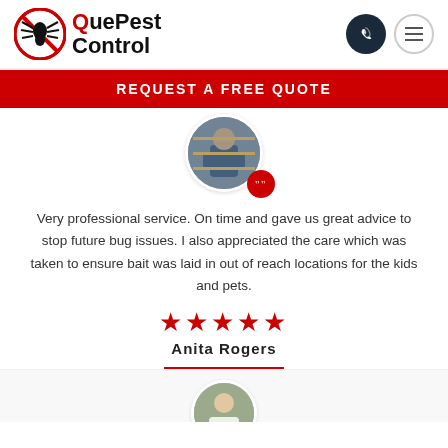[Figure (logo): QuePest Control logo with red spider-in-circle icon and bold text]
REQUEST A FREE QUOTE
[Figure (photo): Circular avatar photo of a pest control worker in blue uniform, with a red quote badge]
Very professional service. On time and gave us great advice to stop future bug issues. I also appreciated the care which was taken to ensure bait was laid in out of reach locations for the kids and pets.
★★★★★
Anita Rogers
[Figure (photo): Circular avatar photo of another person, partially visible at bottom]